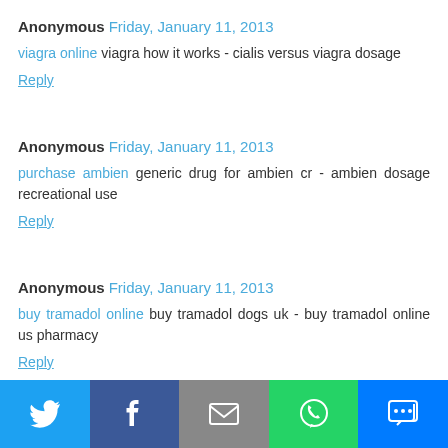Anonymous Friday, January 11, 2013
viagra online viagra how it works - cialis versus viagra dosage
Reply
Anonymous Friday, January 11, 2013
purchase ambien generic drug for ambien cr - ambien dosage recreational use
Reply
Anonymous Friday, January 11, 2013
buy tramadol online buy tramadol dogs uk - buy tramadol online us pharmacy
Reply
[Figure (infographic): Social share bar with Twitter, Facebook, Email, WhatsApp, and SMS buttons]